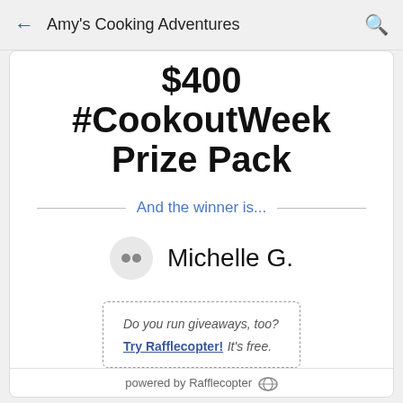Amy's Cooking Adventures
$400 #CookoutWeek Prize Pack
And the winner is...
Michelle G.
Do you run giveaways, too? Try Rafflecopter! It's free.
powered by Rafflecopter